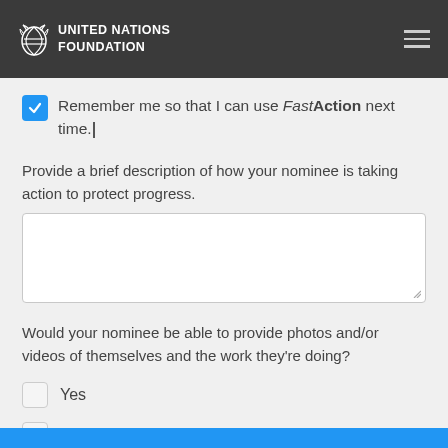[Figure (logo): United Nations Foundation logo with laurel wreath icon on dark grey header bar with hamburger menu icon on right]
Remember me so that I can use FastAction next time.
Provide a brief description of how your nominee is taking action to protect progress.
Would your nominee be able to provide photos and/or videos of themselves and the work they're doing?
Yes
No